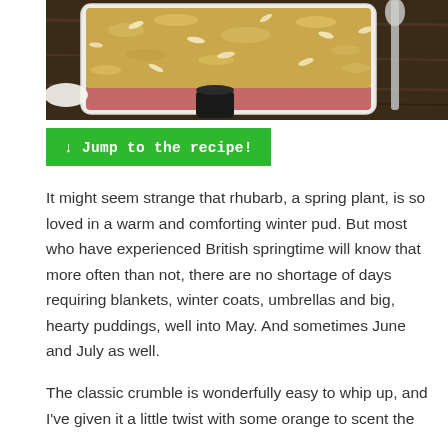[Figure (photo): Overhead view of a rectangular white baking dish filled with a golden oat and almond crumble topping, with reddish fruit visible at the edges, placed on a dark wooden table with a spoon, small bowl, and black cup visible]
↓ Jump to the recipe!
It might seem strange that rhubarb, a spring plant, is so loved in a warm and comforting winter pud. But most who have experienced British springtime will know that more often than not, there are no shortage of days requiring blankets, winter coats, umbrellas and big, hearty puddings, well into May. And sometimes June and July as well.
The classic crumble is wonderfully easy to whip up, and I've given it a little twist with some orange to scent the